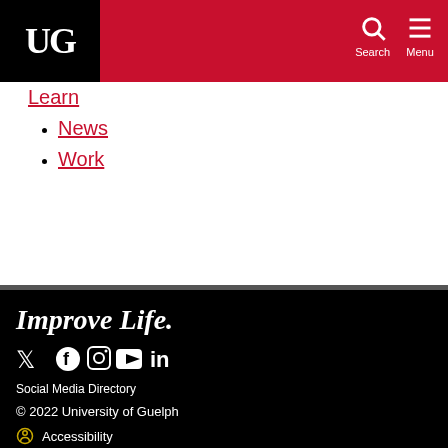UG | Search | Menu
Learn (partial)
News
Work
Improve Life.
Social Media Directory
© 2022 University of Guelph
Accessibility
Privacy
Site Map
Status Page
Land Acknowledgement
Careers
Undergraduate Calendar